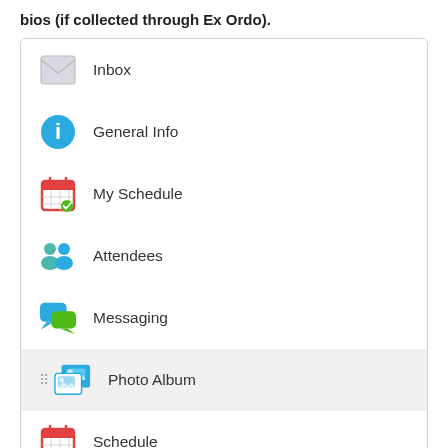bios (if collected through Ex Ordo).
[Figure (screenshot): A mobile app navigation menu showing icons and labels: Inbox, General Info, My Schedule, Attendees, Messaging, Photo Album (highlighted), Schedule, Sessions (with blue arrow annotation pointing to it)]